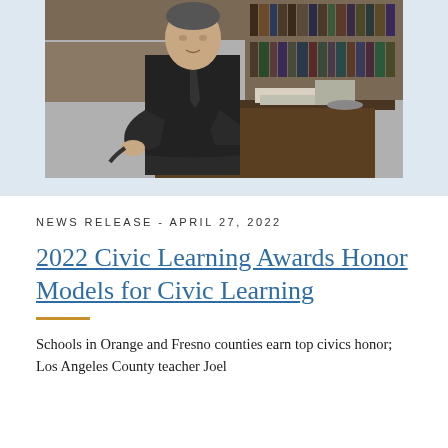[Figure (photo): Black and white photograph of a man in a suit and tie sitting at a desk surrounded by bookshelves, holding an object, with papers and items on the desk.]
NEWS RELEASE - APRIL 27, 2022
2022 Civic Learning Awards Honor Models for Civic Learning
Schools in Orange and Fresno counties earn top civics honor; Los Angeles County teacher Joel